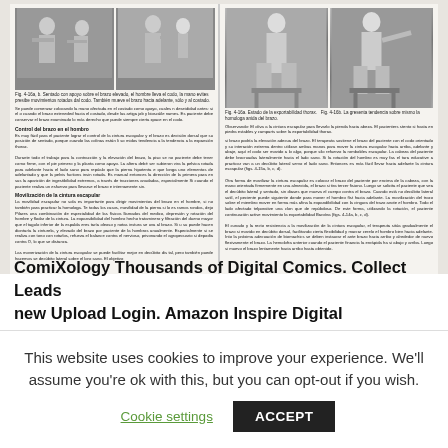[Figure (photo): Scanned medical textbook page spread showing black and white photographs of physical therapy/rehabilitation exercises. Left page has two photos showing a therapist working with a patient on arm/shoulder movements. Right page has two photos showing a patient seated demonstrating posture/movement exercises.]
Fig. 4-16a, b. Sentado con apoyo sobre el brazo elevado, el hombre lleva el codo, la mano evites presibe movimientos rotados dal codo. También mueve el brazo hacia adelante, sólo y al costado.
Se puede comenzar colocando la mano afectada en el costado como apoyo, cuales n deseididad antes: si el o cuando el brazo exteneded hacia el costado, desde las artiga job y bioscáile names. Es paciente debe conservar el brazo examinado lo más derecho que puede siempre cierta xpace en el codo.
Control del brazo en el hombro
Es muy fácil para el paciente lograr el control de la cinturas escapular y el brazo es decisión dorsal que su posición de sentado, porque cargas cuando las colinas están li so midos tendencia a la tendencia a la expansión thorax.

Durante todo el trabajo para la contracción y la elevación del hrazo, la piso se no paciente. debe tener como firme, con el pie primero y la planta como apoyo. La altera debé ser subieron vira la pelvica rotada para adelante hacia la lado sano para repúalo que la pierna hipotenta e que longa uno elementos de adelantado y que la pelvis fuctions insin rotada. Es manual entonces la dirección de la primera para en sus la aparición de ingestibilidad extremos, a través de tracciones anudadas, especialmente Si cuando el paciente realiza un esfuerzo para llevarse el brazo e internamente sin.
Movilización de la cintura escapular
La movilidad escapular no sola es importante para dirigir movimientos del brazos en el hombre, si no también para practicar la homologa. Te todas los casos, movilidad de la pierna si lo es ramos rondos, dejo Pilares. una combinación de especialidad de las físicos llamados del medico, depresión y retatón del hombre y flodar de la cintura. La expansibilidad del hombro hecho trataminero y el filtración del dueno mayor que el tagulo inferior de la espalda eres taría oleoso y notas instura se uva al brazo. Si u su puede hacen diontaría la cinturela, y elevado del brazo por paciente de la hombros anualmente. Especialmente si se realiza con tono con rotarlos, refueza el balance contra el nervioso, privonando el agropecuario y si depodia contra O, lo que se distanca.

Las moverización de la cintura escapular se puede facilitar mejor en decúbito dis tal, pero también puede hacemos se decúbito lateral sobre el loro sano. El objetivo
Fig. 4-16a. Estado de la exportabilidad thorax. Fig. 4-16b. La gresenta tendencia sobre mismo la homologa anida del brazo.
Observando: El oliva a la cintura escapular para llevarlo la pienda hacia abeza. El pacionter stento si hasta en piedra estables y camparts sobre la exportabilidad thorax.
si brazo podría la elevación adecua del brazo. El terapeuta sostiene el brazo del paciente con el codo orientado y su interacion extrema dentro utilizan ambas manos para mover la cintura escapular hacia arriba, adelante y abaje, aquí el codo ser movido a lo algo, porque silo refuerzo la romboldes escapular. La cabeza del paciente debe brocruadas lateralmente hacia el lado sano. Si la rotación del hombro es muy fasa: el tara educative a practicar van a un decúbito lateral servo el lado sano. Entonces es más fácil llevar hacia adelante la cintura escapular (figs. 4-15a, b, c, d).

Otra forma de movilizar la cintura escapular es colocar el brazo del pacionter por encima de la cabeza, con la mano orientada firmemente en una almecida, el brazo si tira tercer fisiono. Luego se solicita el peciente que vea el decúbito lateral y sentado, sin diases que mueva el cuerpo contra el brazo. Cuando está no decúbito lateral sutil, el peciente puede siguiente donde para mover el hombro físt hacia adelante. La movilización del trozo sobre el miembro mover en forma más afina la expandibilidad con la cingura del trazo (anote el hombro. Todo el lado afectado telporative una clon que de repúbdoso. De este forma, utilizando la rotación, el paciente continuación active movimiento la exportabilidad Baroína (figs. 4-14a, b, c, d).

El cunado y la recto resistencia a la movilización de la cintura escapular, el terapeuta sitúa gradualmente el brazo si movido en decúbito dorsal, facilitando cierta flexibilidad y marcar cerelo el hombro bien hacia adelante. Into la próxima adecuación de biomachics se deben instaurar el ante brazo hacia arribo y alrededor de nuevo flexivamente el brazo. La hemolofra anterior cuando el paciente financia la enrápida ha si abajo y arriba. Luego si muevo el brazo lentamente hacia arribo hasta obtenido.
ComiXology Thousands of Digital Comics. Collect Leads new Upload Login. Amazon Inspire Digital Educational
This website uses cookies to improve your experience. We'll assume you're ok with this, but you can opt-out if you wish.
Cookie settings
ACCEPT